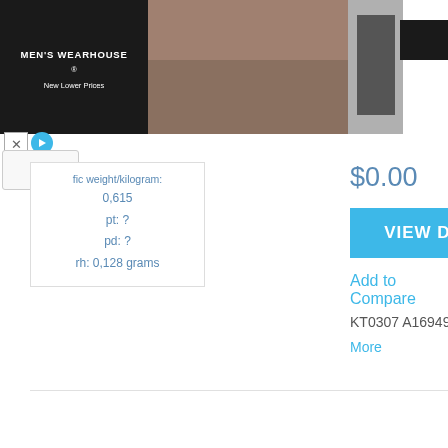[Figure (photo): Men's Wearhouse advertisement banner showing a couple in formal wear on the left, a couple posed outdoors in the center, and a suit image on the right with a dark overlay block]
fic weight/kilogram:
0,615
pt: ?
pd: ?
rh: 0,128 grams
$0.00
VIEW DETAILS
Add to Compare
KT0307 A1694901514 11107661 260110 CU 96530 Learn More